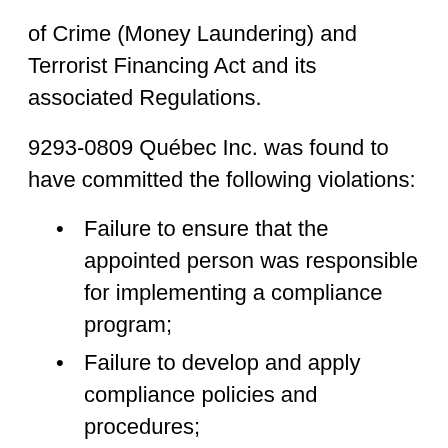of Crime (Money Laundering) and Terrorist Financing Act and its associated Regulations.
9293-0809 Québec Inc. was found to have committed the following violations:
Failure to ensure that the appointed person was responsible for implementing a compliance program;
Failure to develop and apply compliance policies and procedures;
Failure to fully assess and document the money laundering or terrorist activity financing risk of its geographic